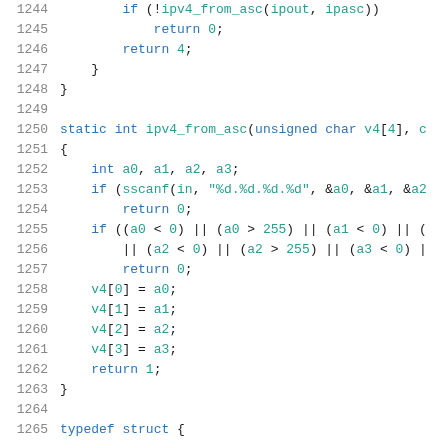Source code listing showing C functions ipv4_from_asc and related code, lines 1244-1265
[Figure (screenshot): C source code with syntax highlighting showing lines 1244-1265 including a static int ipv4_from_asc function]